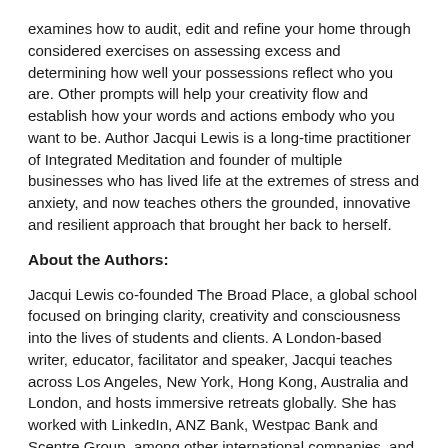examines how to audit, edit and refine your home through considered exercises on assessing excess and determining how well your possessions reflect who you are. Other prompts will help your creativity flow and establish how your words and actions embody who you want to be. Author Jacqui Lewis is a long-time practitioner of Integrated Meditation and founder of multiple businesses who has lived life at the extremes of stress and anxiety, and now teaches others the grounded, innovative and resilient approach that brought her back to herself.
About the Authors:
Jacqui Lewis co-founded The Broad Place, a global school focused on bringing clarity, creativity and consciousness into the lives of students and clients. A London-based writer, educator, facilitator and speaker, Jacqui teaches across Los Angeles, New York, Hong Kong, Australia and London, and hosts immersive retreats globally. She has worked with LinkedIn, ANZ Bank, Westpac Bank and Scentre Group, among other international companies, and has been featured in Vogue, Harper's Bazaar, BRW, Financial Review,